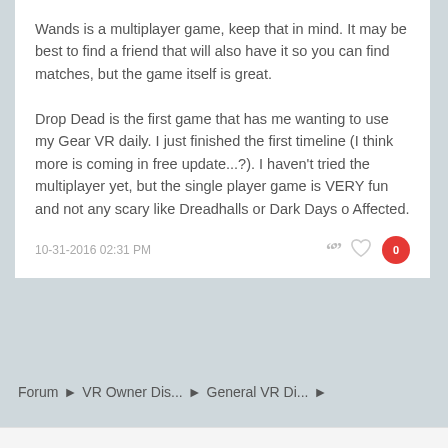Wands is a multiplayer game, keep that in mind. It may be best to find a friend that will also have it so you can find matches, but the game itself is great.

Drop Dead is the first game that has me wanting to use my Gear VR daily. I just finished the first timeline (I think more is coming in free update...?). I haven't tried the multiplayer yet, but the single player game is VERY fun and not any scary like Dreadhalls or Dark Days o Affected.
10-31-2016 02:31 PM
Forum › VR Owner Dis... › General VR Di... ›